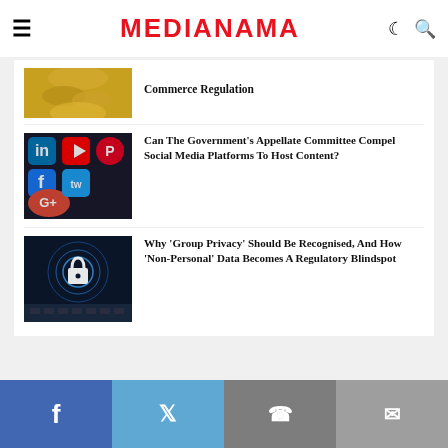MEDIANAMA
[Figure (photo): Partial image of coins at top of page (cut off)]
Commerce Regulation
[Figure (photo): Social media app icons including LinkedIn, Facebook, YouTube, Google+, Twitter, Pinterest on a dark surface]
Can The Government's Appellate Committee Compel Social Media Platforms To Host Content?
[Figure (photo): Padlock icon on digital/cyber background with laptop keyboard and hands visible]
Why 'Group Privacy' Should Be Recognised, And How 'Non-Personal' Data Becomes A Regulatory Blindspot